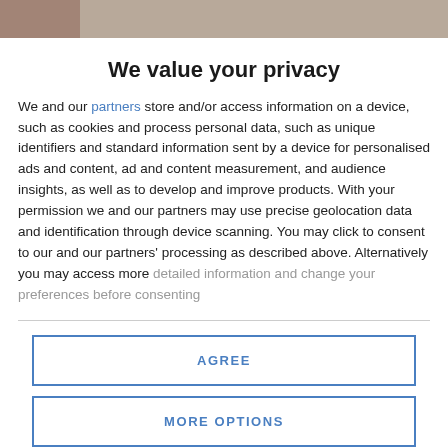[Figure (photo): Partial photo visible at top of page, cropped]
We value your privacy
We and our partners store and/or access information on a device, such as cookies and process personal data, such as unique identifiers and standard information sent by a device for personalised ads and content, ad and content measurement, and audience insights, as well as to develop and improve products. With your permission we and our partners may use precise geolocation data and identification through device scanning. You may click to consent to our and our partners' processing as described above. Alternatively you may access more detailed information and change your preferences before consenting
AGREE
MORE OPTIONS
[Figure (photo): Partial photo visible at bottom of page, cropped]